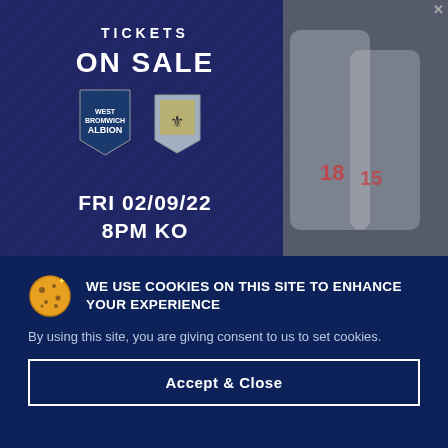[Figure (illustration): West Bromwich Albion vs Burnley ticket advertisement banner. Dark navy background with diagonal stripe pattern. Shows 'TICKETS ON SALE' text, West Brom and Burnley club crests, match date FRI 02/09/22, 8PM KO. Right side shows photo of football players in West Brom striped kits.]
WE USE COOKIES ON THIS SITE TO ENHANCE YOUR EXPERIENCE
By using this site, you are giving consent to us to set cookies.
Accept & Close